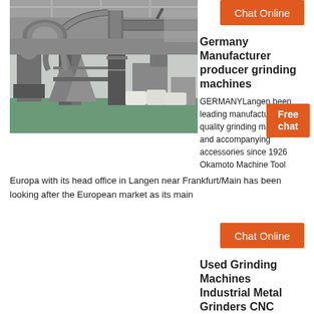[Figure (other): Chat Online button at top right]
[Figure (photo): Industrial grinding machines inside a large factory hall with green floor]
Germany Manufacturer producer grinding machines
GERMANYLangen been leading manufacturer of quality grinding machines and accompanying accessories since 1926 Okamoto Machine Tool Europa with its head office in Langen near Frankfurt/Main has been looking after the European market as its main
[Figure (other): Free chat button overlay]
[Figure (other): Chat Online button in middle]
[Figure (photo): Industrial metal duct/pipe system inside a factory building]
Used Grinding Machines Industrial Metal Grinders CNC
Bore grinding machines Bore